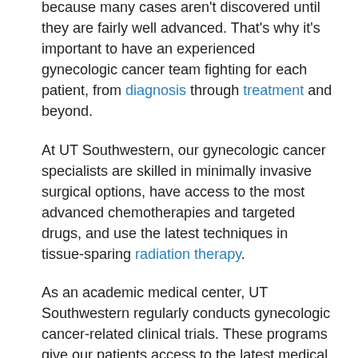because many cases aren't discovered until they are fairly well advanced. That's why it's important to have an experienced gynecologic cancer team fighting for each patient, from diagnosis through treatment and beyond.
At UT Southwestern, our gynecologic cancer specialists are skilled in minimally invasive surgical options, have access to the most advanced chemotherapies and targeted drugs, and use the latest techniques in tissue-sparing radiation therapy.
As an academic medical center, UT Southwestern regularly conducts gynecologic cancer-related clinical trials. These programs give our patients access to the latest medical and surgical treatments. Patients should talk with their doctor about access to clinical trials.